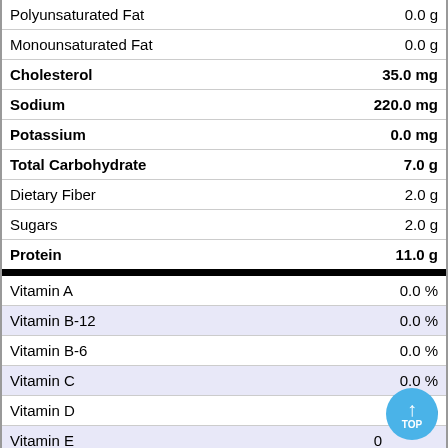| Nutrient | Amount |
| --- | --- |
| Polyunsaturated Fat | 0.0 g |
| Monounsaturated Fat | 0.0 g |
| Cholesterol | 35.0 mg |
| Sodium | 220.0 mg |
| Potassium | 0.0 mg |
| Total Carbohydrate | 7.0 g |
| Dietary Fiber | 2.0 g |
| Sugars | 2.0 g |
| Protein | 11.0 g |
| Vitamin A | 0.0 % |
| Vitamin B-12 | 0.0 % |
| Vitamin B-6 | 0.0 % |
| Vitamin C | 0.0 % |
| Vitamin D | 0.0 % |
| Vitamin E | 0 |